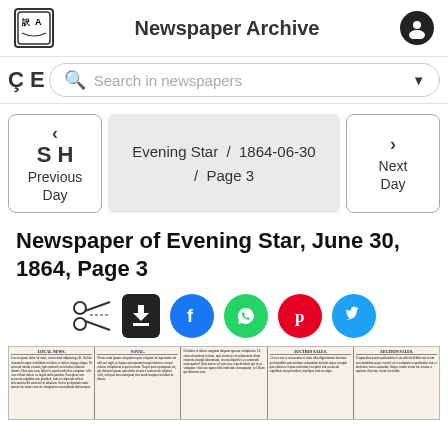Newspaper Archive
Search in newspapers
Ç E
S H  <  Previous Day   Evening Star / 1864-06-30 / Page 3   > Next Day
Newspaper of Evening Star, June 30, 1864, Page 3
[Figure (screenshot): Social sharing icons row: scissors, download, Facebook, WhatsApp, Pinterest, Twitter]
[Figure (photo): Scanned newspaper page preview showing Evening Star columns including Local News, Auction Sales sections]